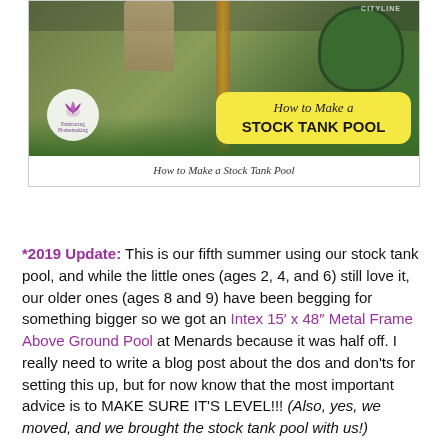[Figure (photo): Photo of a stock tank pool setup outdoors with a yellow rounded rectangle overlay showing 'How to Make a STOCK TANK POOL' and a circular logo in the lower left.]
How to Make a Stock Tank Pool
*2019 Update: This is our fifth summer using our stock tank pool, and while the little ones (ages 2, 4, and 6) still love it, our older ones (ages 8 and 9) have been begging for something bigger so we got an Intex 15′ x 48″ Metal Frame Above Ground Pool at Menards because it was half off. I really need to write a blog post about the dos and don'ts for setting this up, but for now know that the most important advice is to MAKE SURE IT'S LEVEL!!! (Also, yes, we moved, and we brought the stock tank pool with us!)